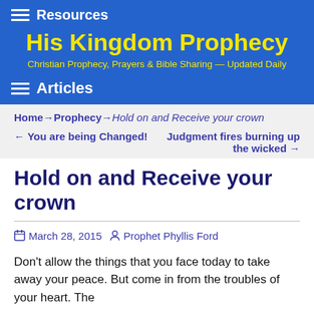Resources
His Kingdom Prophecy
Christian Prophecy, Prayers & Bible Sharing — Updated Daily
Articles
Home → Prophecy → Hold on and Receive your crown
← You are being Changed!  Judgment fires burning up the wicked →
Hold on and Receive your crown
March 28, 2015  Prophet Phyllis Ford
Don't allow the things that you face today to take away your peace. But come in from the troubles of your heart. The